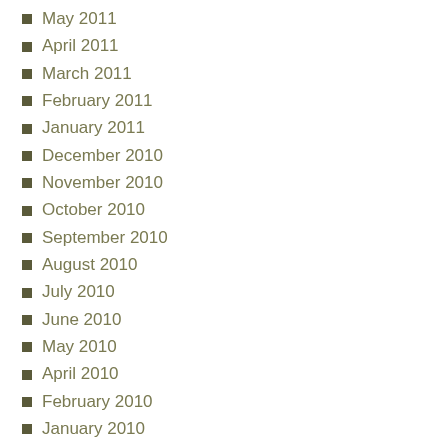May 2011
April 2011
March 2011
February 2011
January 2011
December 2010
November 2010
October 2010
September 2010
August 2010
July 2010
June 2010
May 2010
April 2010
February 2010
January 2010
December 2009
November 2009
October 2009
September 2009
August 2009